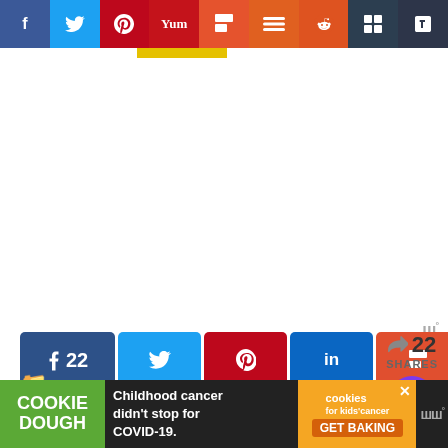[Figure (screenshot): Social media sharing bar at top with icons for Facebook, Twitter, Pinterest, Yummly, Flipboard, Mix, Reddit, Buffer, Tumblr on colored backgrounds]
[Figure (screenshot): Social sharing buttons row: Facebook (22), Twitter, Pinterest, LinkedIn, Flipboard, Yummly, Mix, Buffer, Reddit, Tumblr; with 22 SHARES counter and heart/share icons on right sidebar]
Baby Food, Baby V, Memories, Reviews, Thought Bubble Humor
[Figure (screenshot): Cookie Dough advertisement banner: 'Childhood cancer didn't stop for COVID-19. GET BAKING' with cookies for kids cancer logo]